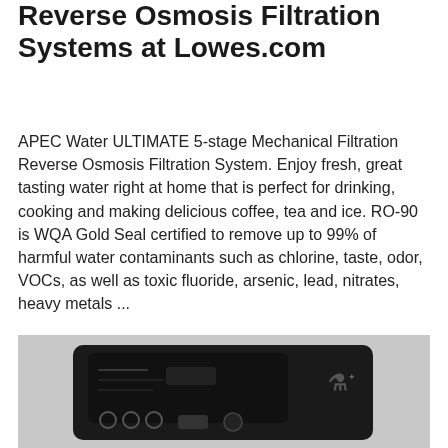Reverse Osmosis Filtration Systems at Lowes.com
APEC Water ULTIMATE 5-stage Mechanical Filtration Reverse Osmosis Filtration System. Enjoy fresh, great tasting water right at home that is perfect for drinking, cooking and making delicious coffee, tea and ice. RO-90 is WQA Gold Seal certified to remove up to 99% of harmful water contaminants such as chlorine, taste, odor, VOCs, as well as toxic fluoride, arsenic, lead, nitrates, heavy metals ...
Get Price
[Figure (photo): Photo of a reverse osmosis water filtration system control panel, dark colored device with circular indicators and buttons on a light background]